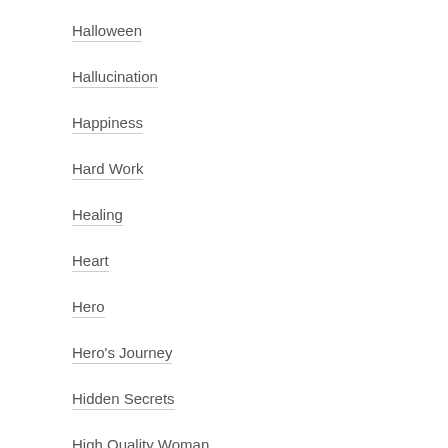Halloween
Hallucination
Happiness
Hard Work
Healing
Heart
Hero
Hero's Journey
Hidden Secrets
High Quality Woman
High Speed
Hiking
Hive Mind